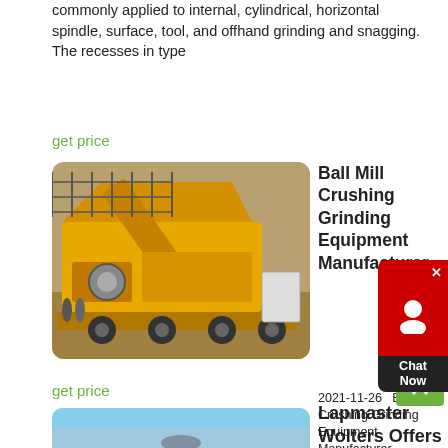commonly applied to internal, cylindrical, horizontal spindle, surface, tool, and offhand grinding and snagging. The recesses in type
get price
[Figure (photo): Yellow mobile ball mill crushing and grinding equipment on a truck trailer at an outdoor construction site]
Ball Mill Crushing Grinding Equipment Manufacturer
2021-11-26   Ball Mill Crushing Grinding Equipment Manufacturer. Aavishkar machinery private limited is the flagship company of Aavishkar Group of Industries which has under its fold, Greenfield Projects & Aavishkar. Aavishkar is a pioneer in designing and manufacturing engineering equipments, actively associated with product development, utilization of
get price
[Figure (photo): Outdoor industrial equipment photo for Lapmaster Wolters product listing]
Lapmaster Wolters Offers